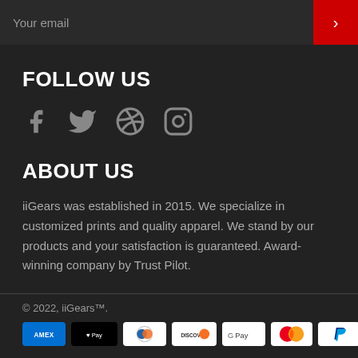Your email
FOLLOW US
[Figure (other): Social media icons: Facebook, Twitter, Pinterest, Instagram]
ABOUT US
iiGears was established in 2015. We specialize in customized prints and quality apparel. We stand by our products and your satisfaction is guaranteed. Award-winning company by Trust Pilot.
© 2022, iiGears™.
[Figure (other): Payment method icons: Amex, Apple Pay, Diners Club, Discover, Google Pay, Mastercard, PayPal, Shop Pay, Visa]